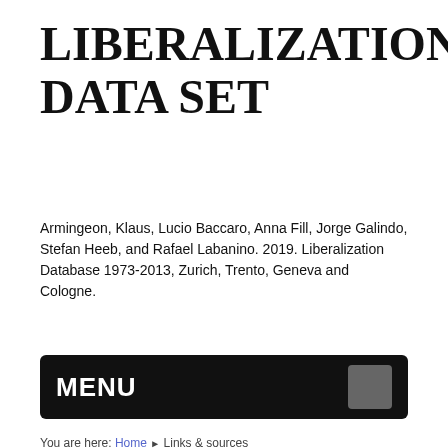LIBERALIZATION DATA SET
Armingeon, Klaus, Lucio Baccaro, Anna Fill, Jorge Galindo, Stefan Heeb, and Rafael Labanino. 2019. Liberalization Database 1973-2013, Zurich, Trento, Geneva and Cologne.
MENU
You are here: Home ▶ Links & sources
Sources:
Policy reform changes